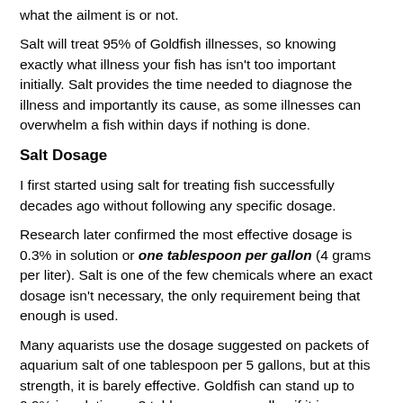what the ailment is or not.
Salt will treat 95% of Goldfish illnesses, so knowing exactly what illness your fish has isn't too important initially. Salt provides the time needed to diagnose the illness and importantly its cause, as some illnesses can overwhelm a fish within days if nothing is done.
Salt Dosage
I first started using salt for treating fish successfully decades ago without following any specific dosage.
Research later confirmed the most effective dosage is 0.3% in solution or one tablespoon per gallon (4 grams per liter). Salt is one of the few chemicals where an exact dosage isn't necessary, the only requirement being that enough is used.
Many aquarists use the dosage suggested on packets of aquarium salt of one tablespoon per 5 gallons, but at this strength, it is barely effective. Goldfish can stand up to 0.9% in solution or 3 tablespoons per gallon if it is administered gradually over 24 hours, but this strength is rarely necessary.